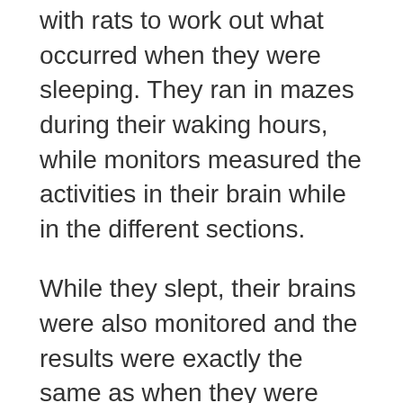with rats to work out what occurred when they were sleeping. They ran in mazes during their waking hours, while monitors measured the activities in their brain while in the different sections.
While they slept, their brains were also monitored and the results were exactly the same as when they were running in the mazes when they were awake.
This proved that the rats were reliving their daytime activities while they were asleep. Dogs have a higher level of brain function than the rats have. Therefore, it's very likely that if the rats have the capacity to dream about their daily lives, being closer to the dogs, we'd be